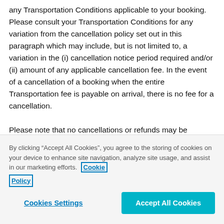any Transportation Conditions applicable to your booking. Please consult your Transportation Conditions for any variation from the cancellation policy set out in this paragraph which may include, but is not limited to, a variation in the (i) cancellation notice period required and/or (ii) amount of any applicable cancellation fee. In the event of a cancellation of a booking when the entire Transportation fee is payable on arrival, there is no fee for a cancellation.

Please note that no cancellations or refunds may be available in respect of certain types of Transportation including, but not limited, coach, bus and/or train. Please
By clicking “Accept All Cookies”, you agree to the storing of cookies on your device to enhance site navigation, analyze site usage, and assist in our marketing efforts. Cookie Policy
Cookies Settings
Accept All Cookies